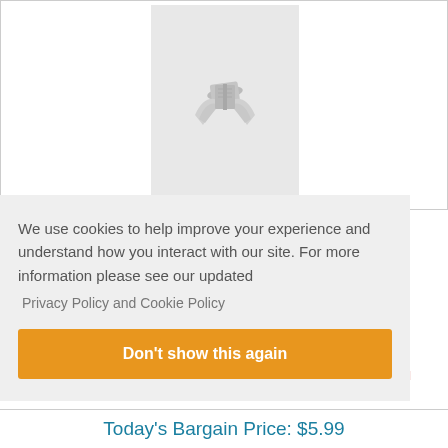[Figure (illustration): Book placeholder image with a stylized book and flower/lily graphic on a light gray background]
We use cookies to help improve your experience and understand how you interact with our site. For more information please see our updated
Privacy Policy and Cookie Policy
Don't show this again
Today's Bargain Price: $5.99